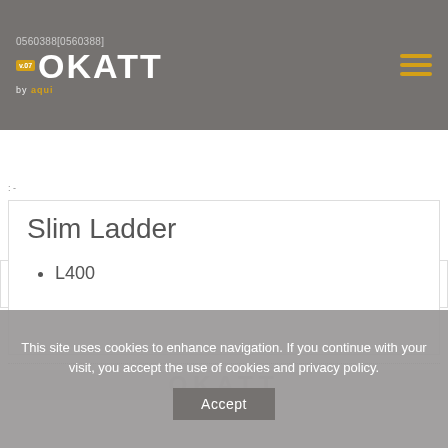0560388[0560388] 1- OKATT by aqui
: -
Slim Ladder
L400
This site uses cookies to enhance navigation. If you continue with your visit, you accept the use of cookies and privacy policy.